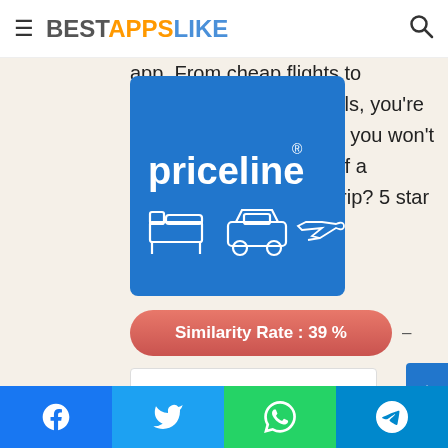BESTAPPSLIKE
app. From cheap flights to amazing hotel room deals, you're guaranteed to find deals you won't want to miss. Feelings of a vacation or a business trip? 5 star
[Figure (logo): Priceline app logo on blue background with white text 'priceline' and icons of a bed, car, and airplane]
Similarity Rate : 39 % –
Similar Apps
Facebook, Twitter, WhatsApp, Telegram share buttons